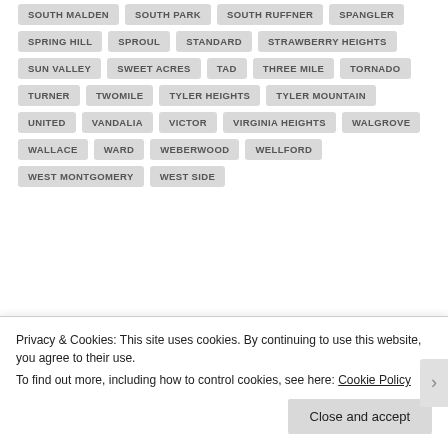SOUTH MALDEN
SOUTH PARK
SOUTH RUFFNER
SPANGLER
SPRING HILL
SPROUL
STANDARD
STRAWBERRY HEIGHTS
SUN VALLEY
SWEET ACRES
TAD
THREE MILE
TORNADO
TURNER
TWOMILE
TYLER HEIGHTS
TYLER MOUNTAIN
UNITED
VANDALIA
VICTOR
VIRGINIA HEIGHTS
WALGROVE
WALLACE
WARD
WEBERWOOD
WELLFORD
WEST MONTGOMERY
WEST SIDE
Privacy & Cookies: This site uses cookies. By continuing to use this website, you agree to their use.
To find out more, including how to control cookies, see here: Cookie Policy